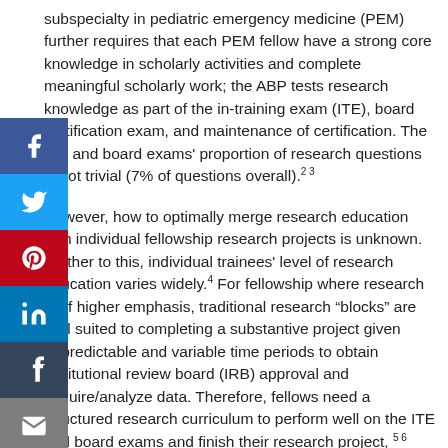subspecialty in pediatric emergency medicine (PEM) further requires that each PEM fellow have a strong core knowledge in scholarly activities and complete meaningful scholarly work; the ABP tests research knowledge as part of the in-training exam (ITE), board certification exam, and maintenance of certification. The ITE and board exams' proportion of research questions is not trivial (7% of questions overall).²³
However, how to optimally merge research education with individual fellowship research projects is unknown. Further to this, individual trainees' level of research education varies widely.⁴ For fellowship where research is of higher emphasis, traditional research "blocks" are well suited to completing a substantive project given unpredictable and variable time periods to obtain institutional review board (IRB) approval and acquire/analyze data. Therefore, fellows need a structured research curriculum to perform well on the ITE and board exams and finish their research project, ⁵⁶ while also fulfilling clinical duties and maintaining wellness. Additionally, a MedEdPortal search at the commencement of this project revealed no PEM fellowship research curricula. At our institution, the previous approach for addressing those areas was a monthly PEM journal club, individual dedicated research blocks, and the completion of a scholarly project by each fellow. However, a program needs assessment revealed that scholarly activity questions on the ITE exam was the section where